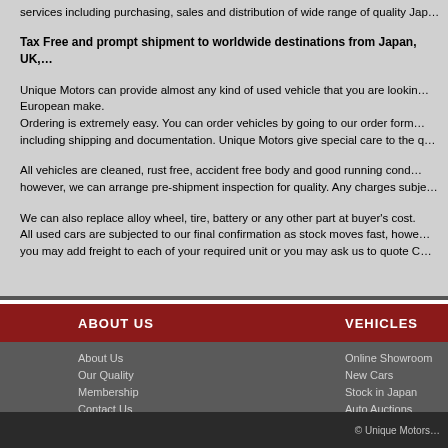services including purchasing, sales and distribution of wide range of quality Jap…
Tax Free and prompt shipment to worldwide destinations from Japan, UK,…
Unique Motors can provide almost any kind of used vehicle that you are looking for, Japanese or European make. Ordering is extremely easy. You can order vehicles by going to our order form… including shipping and documentation. Unique Motors give special care to the q…
All vehicles are cleaned, rust free, accident free body and good running cond… however, we can arrange pre-shipment inspection for quality. Any charges subje…
We can also replace alloy wheel, tire, battery or any other part at buyer's cost. All used cars are subjected to our final confirmation as stock moves fast, howe… you may add freight to each of your required unit or you may ask us to quote C…
ABOUT US
VEHICLES
About Us
Our Quality
Membership
Contact Us
Shipping
Online Showroom
New Cars
Stock in Japan
Auto Auctions
Search Vehicles
© Unique Motors…